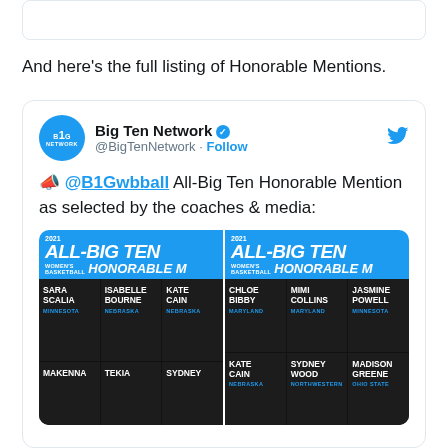And here’s the full listing of Honorable Mentions.
[Figure (screenshot): Tweet from Big Ten Network (@BigTenNetwork) showing 2021 All-Big Ten Women's Basketball Honorable Mention selections. Tweet text: 📣 @B1Gwbball All-Big Ten Honorable Mention as selected by the coaches & media: with two side-by-side images listing players including Sara Scalia (Minnesota), Isabelle Bourne (Nebraska), Kate Cain (Nebraska), Makenna, Tekia, Sydney, Chloe Bibby (Maryland), Mimi Collins (Maryland), Jasmine Powell (Minnesota), Kate Cain (Nebraska), Sydney Wood (Northwestern), Madison Greene (Ohio State)]